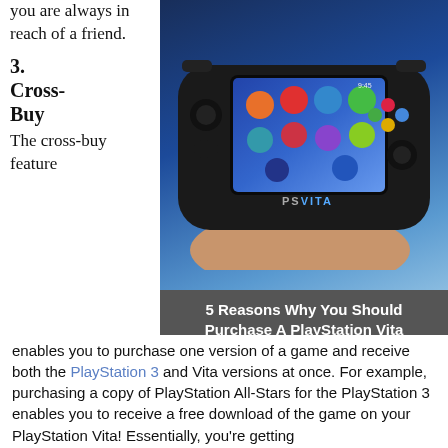you are always in reach of a friend.
3. Cross-Buy
The cross-buy feature
[Figure (photo): Person holding a Sony PS Vita handheld gaming console showing the home screen with app icons including Welcome Park, Near, Party, PS Store, and browser. Caption bar reads: 5 Reasons Why You Should Purchase A PlayStation Vita]
5 Reasons Why You Should Purchase A PlayStation Vita
enables you to purchase one version of a game and receive both the PlayStation 3 and Vita versions at once. For example, purchasing a copy of PlayStation All-Stars for the PlayStation 3 enables you to receive a free download of the game on your PlayStation Vita! Essentially, you're getting